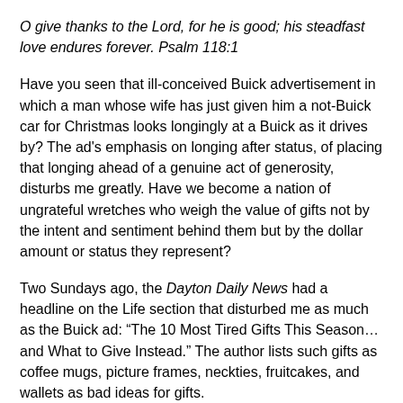O give thanks to the Lord, for he is good; his steadfast love endures forever. Psalm 118:1
Have you seen that ill-conceived Buick advertisement in which a man whose wife has just given him a not-Buick car for Christmas looks longingly at a Buick as it drives by? The ad's emphasis on longing after status, of placing that longing ahead of a genuine act of generosity, disturbs me greatly. Have we become a nation of ungrateful wretches who weigh the value of gifts not by the intent and sentiment behind them but by the dollar amount or status they represent?
Two Sundays ago, the Dayton Daily News had a headline on the Life section that disturbed me as much as the Buick ad: “The 10 Most Tired Gifts This Season…and What to Give Instead.” The author lists such gifts as coffee mugs, picture frames, neckties, fruitcakes, and wallets as bad ideas for gifts.
The article says more about a particular perspective on giving than on what constitutes a tired gift. In a culture of excess, old-fashioned gifts are “tired,” and newer, glitzier